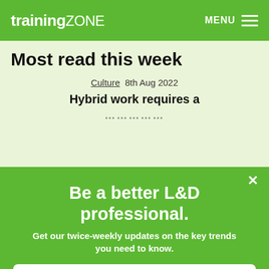trainingZONE  MENU
Most read this week
Culture  8th Aug 2022
Hybrid work requires a
× Be a better L&D professional. Get our twice-weekly updates on the key trends you need to know.
Enter your email address here...
Sign Up